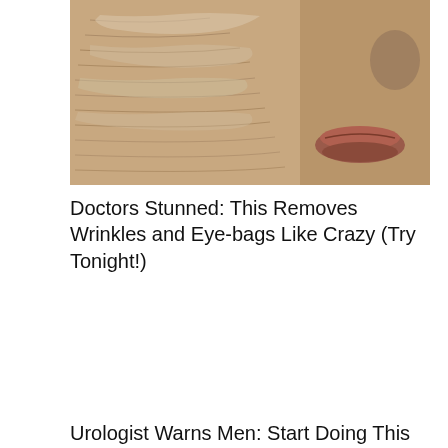[Figure (photo): Close-up photo of an elderly person's face showing severely wrinkled and dry skin, with visible lips and nose]
Doctors Stunned: This Removes Wrinkles and Eye-bags Like Crazy (Try Tonight!)
Urologist Warns Men: Start Doing This Tonight to